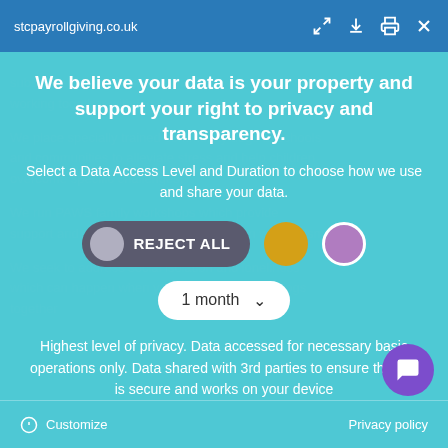stcpayrollgiving.co.uk
We believe your data is your property and support your right to privacy and transparency.
Select a Data Access Level and Duration to choose how we use and share your data.
[Figure (infographic): Three toggle/selection options: a dark toggle pill labeled REJECT ALL with a gray circle on the left, a gold filled circle, and a purple filled circle with white border.]
[Figure (infographic): A white pill-shaped dropdown selector showing '1 month' with a downward chevron arrow.]
Highest level of privacy. Data accessed for necessary basic operations only. Data shared with 3rd parties to ensure the site is secure and works on your device
Save my preferences
[Figure (illustration): Purple circular chat/message bubble button in the bottom right corner.]
Customize   Privacy policy